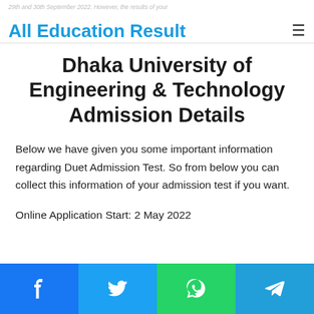All Education Result
29th and 30th September 2022. However, the results of your
Dhaka University of Engineering & Technology Admission Details
Below we have given you some important information regarding Duet Admission Test. So from below you can collect this information of your admission test if you want.
Online Application Start: 2 May 2022
Facebook | Twitter | WhatsApp | Telegram